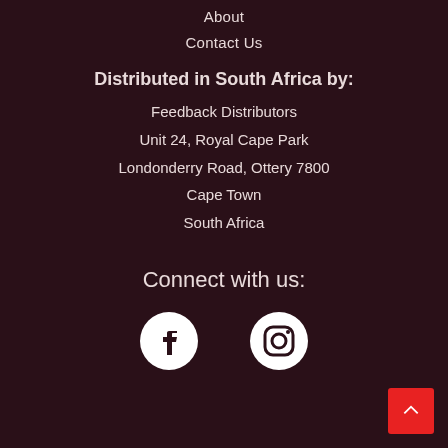About
Contact Us
Distributed in South Africa by:
Feedback Distributors
Unit 24, Royal Cape Park
Londonderry Road, Ottery 7800
Cape Town
South Africa
Connect with us:
[Figure (illustration): Facebook and Instagram social media icons (white circles with logos)]